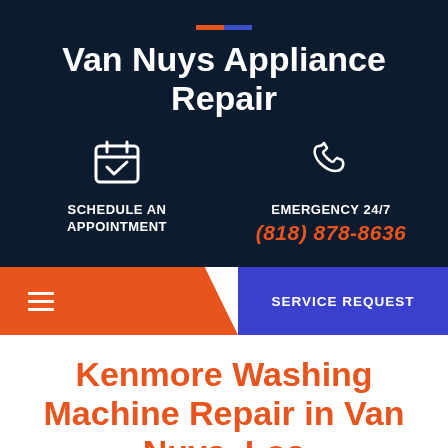Van Nuys Appliance Repair
SCHEDULE AN APPOINTMENT
EMERGENCY 24/7
(818) 878-8636
SERVICE REQUEST
Kenmore Washing Machine Repair in Van Nuys, Los